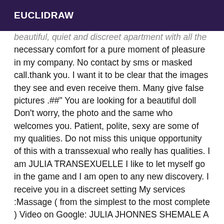EUCLIDRAW
beautiful, quiet and discreet apartment with all the necessary comfort for a pure moment of pleasure in my company. No contact by sms or masked call.thank you. I want it to be clear that the images they see and even receive them. Many give false pictures .##" You are looking for a beautiful doll Don't worry, the photo and the same who welcomes you. Patient, polite, sexy are some of my qualities. Do not miss this unique opportunity of this with a transsexual who really has qualities. I am JULIA TRANSEXUELLE I like to let myself go in the game and I am open to any new discovery. I receive you in a discreet setting My services :Massage ( from the simplest to the most complete ) Video on Google: JULIA JHONNES SHEMALE A ,COUCOU to ALL MY BABIES Kinky shemale Lady boy to APart Climatizedur city DiSpO 24/24 hrs = ATTENTION === LAST WEEKS IN THE U.S. TO SEE ME. I'M GOING BACK TO BRAZIL AND DON'T KNOW WHEN I'LL BE BACK. VERY